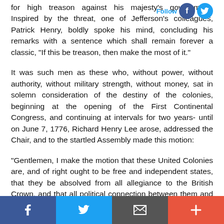for high treason against his majesty's government. Inspired by the threat, one of Jefferson's colleagues, Patrick Henry, boldly spoke his mind, concluding his remarks with a sentence which shall remain forever a classic, "If this be treason, then make the most of it."
It was such men as these who, without power, without authority, without military strength, without money, sat in solemn consideration of the destiny of the colonies, beginning at the opening of the First Continental Congress, and continuing at intervals for two years- until on June 7, 1776, Richard Henry Lee arose, addressed the Chair, and to the startled Assembly made this motion:
"Gentlemen, I make the motion that these United Colonies are, and of right ought to be free and independent states, that they be absolved from all allegiance to the British Crown, and that all political connection between them and the state of Great Britain is, and ought to be totally dissolved."
Facebook | Twitter | Email | Plus